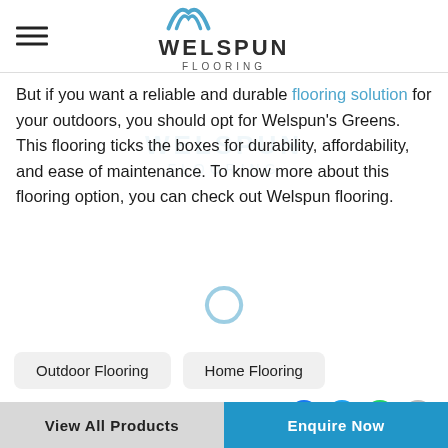[Figure (logo): Welspun Flooring logo with bird/chevron mark in blue and text WELSPUN FLOORING]
But if you want a reliable and durable flooring solution for your outdoors, you should opt for Welspun's Greens. This flooring ticks the boxes for durability, affordability, and ease of maintenance. To know more about this flooring option, you can check out Welspun flooring.
Outdoor Flooring
Home Flooring
Share
View All Products   Enquire Now